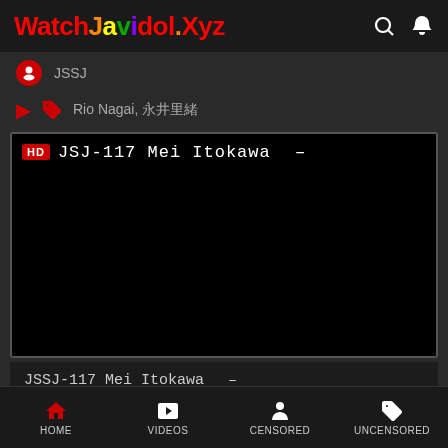WatchJavidol.Xyz
JSSJ
Rio Nagai, 永井里緒
[Figure (screenshot): Video player showing JSSJ-117 Mei Itokawa with HD badge, black video area, and title bar below]
JSSJ-117 Mei Itokawa —
JSSJ
HOME  VIDEOS  CENSORED  UNCENSORED